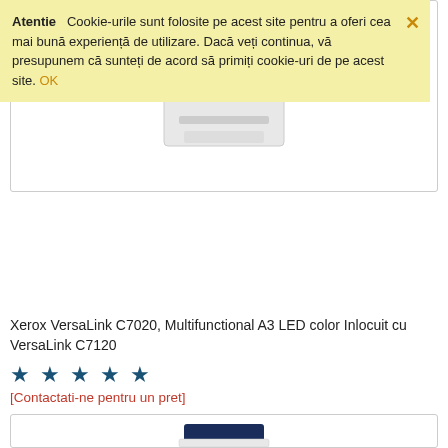Atentie  Cookie-urile sunt folosite pe acest site pentru a oferi cea mai bună experiență de utilizare. Dacă veți continua, vă presupunem că sunteți de acord să primiți cookie-uri de pe acest site. OK
[Figure (photo): Partial view of a Xerox printer/multifunction device (white with dark blue panel), top portion visible inside a bordered product card]
Xerox VersaLink C7020, Multifunctional A3 LED color Inlocuit cu VersaLink C7120
★ ★ ★ ★ ★
[Contactati-ne pentru un pret]
[Figure (photo): Xerox VersaLink multifunction printer, white and dark blue, with paper trays at the bottom, shown in a bordered product card]